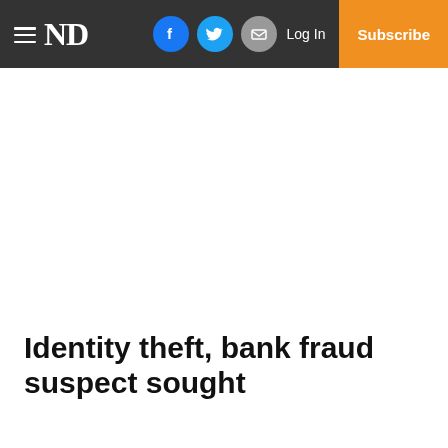≡ ND  Log In  Subscribe
Identity theft, bank fraud suspect sought